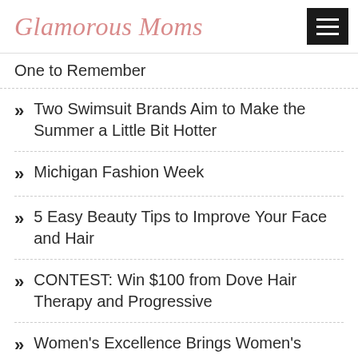Glamorous Moms
One to Remember
Two Swimsuit Brands Aim to Make the Summer a Little Bit Hotter
Michigan Fashion Week
5 Easy Beauty Tips to Improve Your Face and Hair
CONTEST: Win $100 from Dove Hair Therapy and Progressive
Women's Excellence Brings Women's Health Content to Popular Detroit Radio Stations 96.3 WDVD and WJR 760AM
10 Ways to Be a Stylish Mom